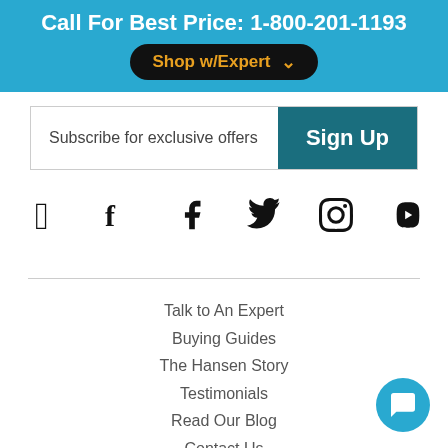Call For Best Price: 1-800-201-1193
Shop w/Expert
Subscribe for exclusive offers
Sign Up
[Figure (illustration): Social media icons: Facebook, Twitter, Pinterest, YouTube]
Talk to An Expert
Buying Guides
The Hansen Story
Testimonials
Read Our Blog
Contact Us
Terms/Conditions/Policies